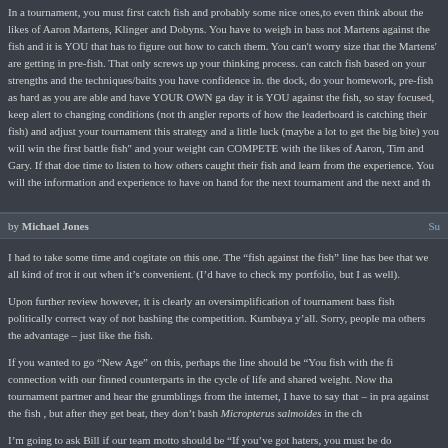In a tournament, you must first catch fish and probably some nice ones,to even think about the likes of Aaron Martens, Klinger and Dobyns. You have to weigh in bass not Martens against the fish and it is YOU that has to figure out how to catch them. You can't worry size that the Martens' are getting in pre-fish. That only screws up your thinking process. can catch fish based on your strengths and the techniques/baits you have confidence in. the dock, do your homework, pre-fish as hard as you are able and have YOUR OWN ga day it is YOU against the fish, so stay focused, keep alert to changing conditions (not th angler reports of how the leaderboard is catching their fish) and adjust your tournament this strategy and a little luck (maybe a lot to get the big bite) you will win the first battle fish" and your weight can COMPETE with the likes of Aaron, Tim and Gary. If that do time to listen to how others caught their fish and learn from the experience. You will the information and experience to have on hand for the next tournament and the next and th
by Michael Jones
I had to take some time and cogitate on this one. The “fish against the fish” line has bee that we all kind of trot it out when it’s convenient. (I’d have to check my portfolio, but I as well).
Upon further review however, it is clearly an oversimplification of tournament bass fish politically correct way of not bashing the competition. Kumbaya y’all. Sorry, people ma others the advantage – just like the fish.
If you wanted to go “New Age” on this, perhaps the line should be “You fish with the fi connection with our finned counterparts in the cycle of life and shared weight. Now tha tournament partner and hear the grumblings from the internet, I have to say that – in pra against the fish , but after they get beat, they don’t bash Micropterus salmoides in the ch
I’m going to ask Bill if our team motto should be “If you’ve got haters, you must be do